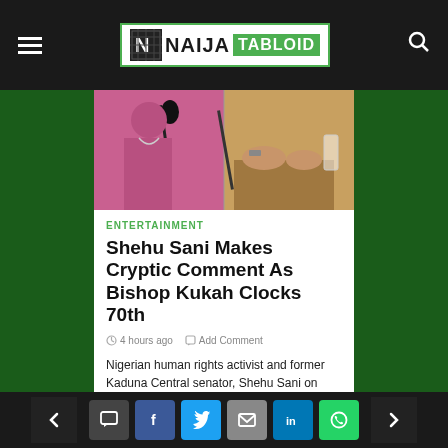NAIJA TABLOID
[Figure (photo): Split image: left side shows a person in pink near a microphone, right side shows hands on a table with a glass of water]
ENTERTAINMENT
Shehu Sani Makes Cryptic Comment As Bishop Kukah Clocks 70th
4 hours ago   Add Comment
Nigerian human rights activist and former Kaduna Central senator, Shehu Sani on Wednesday rejoiced with the Catholic Bishop of Sokoto Diocese, Mathew Hassan…
Navigation and social share buttons